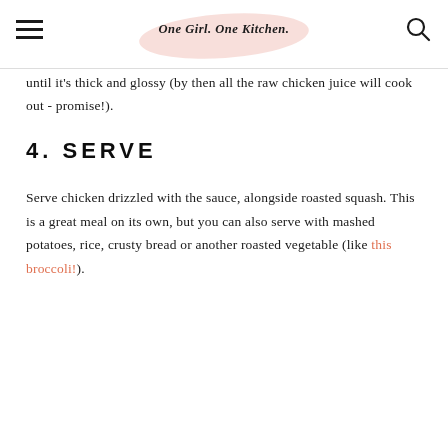One Girl. One Kitchen.
until it's thick and glossy (by then all the raw chicken juice will cook out - promise!).
4. SERVE
Serve chicken drizzled with the sauce, alongside roasted squash. This is a great meal on its own, but you can also serve with mashed potatoes, rice, crusty bread or another roasted vegetable (like this broccoli!).